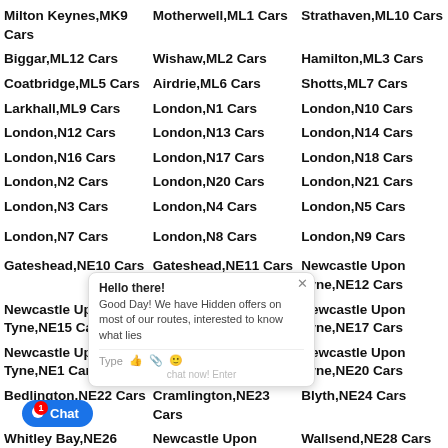Milton Keynes,MK9 Cars
Motherwell,ML1 Cars
Strathaven,ML10 Cars
Biggar,ML12 Cars
Wishaw,ML2 Cars
Hamilton,ML3 Cars
Coatbridge,ML5 Cars
Airdrie,ML6 Cars
Shotts,ML7 Cars
Larkhall,ML9 Cars
London,N1 Cars
London,N10 Cars
London,N12 Cars
London,N13 Cars
London,N14 Cars
London,N16 Cars
London,N17 Cars
London,N18 Cars
London,N2 Cars
London,N20 Cars
London,N21 Cars
London,N3 Cars
London,N4 Cars
London,N5 Cars
London,N7 Cars
London,N8 Cars
London,N9 Cars
Gateshead,NE10 Cars
Gateshead,NE11 Cars
Newcastle Upon Tyne,NE12 Cars
Newcastle Upon Tyne,NE15 Cars
Newcastle Upon Tyne,NE16 Cars
Newcastle Upon Tyne,NE17 Cars
Newcastle Upon Tyne,NE1 Cars
Newcastle Upon Tyne,NE2 Cars
Newcastle Upon Tyne,NE20 Cars
Bedlington,NE22 Cars
Cramlington,NE23 Cars
Blyth,NE24 Cars
Whitley Bay,NE26 Cars
Newcastle Upon Tyne,NE27 Cars
Wallsend,NE28 Cars
Newcastle Upon
North Shields,NE30 Cars
Hebburn,NE31 Cars